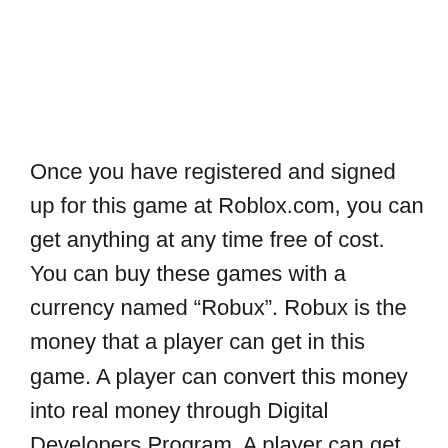Once you have registered and signed up for this game at Roblox.com, you can get anything at any time free of cost. You can buy these games with a currency named “Robux”. Robux is the money that a player can get in this game. A player can convert this money into real money through Digital Developers Program. A player can get this real money at any time, depending upon its needs. There is another option for you with which you will be able to trade and sell with other players. That option is a “Premium” member